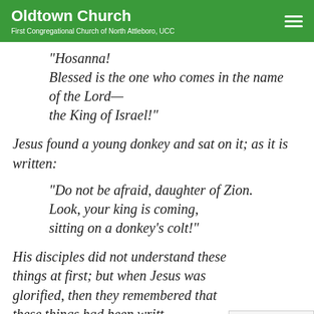Oldtown Church
First Congregational Church of North Attleboro, UCC
“Hosanna!
Blessed is the one who comes in the name of the Lord—
the King of Israel!”
Jesus found a young donkey and sat on it; as it is written:
“Do not be afraid, daughter of Zion.
Look, your king is coming,
sitting on a donkey’s colt!”
His disciples did not understand these things at first; but when Jesus was glorified, then they remembered that these things had been written about him and had been done to him.